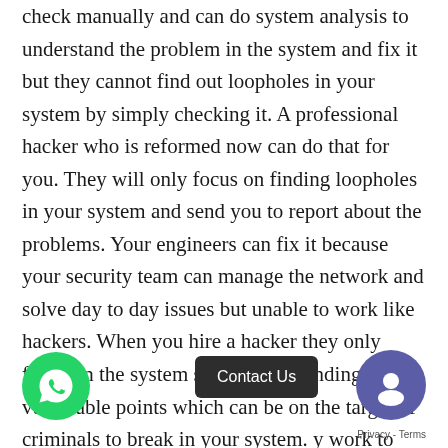check manually and can do system analysis to understand the problem in the system and fix it but they cannot find out loopholes in your system by simply checking it. A professional hacker who is reformed now can do that for you. They will only focus on finding loopholes in your system and send you to report about the problems. Your engineers can fix it because your security team can manage the network and solve day to day issues but unable to work like hackers. When you hire a hacker they only focus on the system security and finding vulnerable points which can be on the target of criminals to break in your system. y work to find faults not to [...]m. That way you have individual attention just on